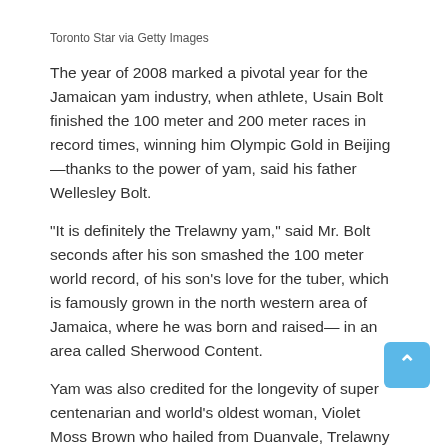Toronto Star via Getty Images
The year of 2008 marked a pivotal year for the Jamaican yam industry, when athlete, Usain Bolt finished the 100 meter and 200 meter races in record times, winning him Olympic Gold in Beijing—thanks to the power of yam, said his father Wellesley Bolt.
“It is definitely the Trelawny yam,” said Mr. Bolt seconds after his son smashed the 100 meter world record, of his son’s love for the tuber, which is famously grown in the north western area of Jamaica, where he was born and raised— in an area called Sherwood Content.
Yam was also credited for the longevity of super centenarian and world’s oldest woman, Violet Moss Brown who hailed from Duanvale, Trelawny and passed away on September 15 2017 at the age of 117.